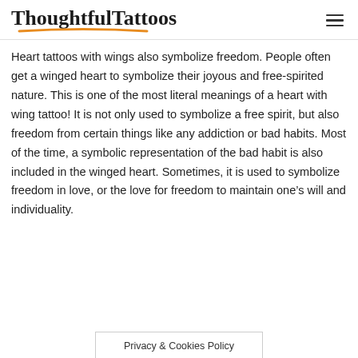ThoughtfulTattoos
Heart tattoos with wings also symbolize freedom. People often get a winged heart to symbolize their joyous and free-spirited nature. This is one of the most literal meanings of a heart with wing tattoo! It is not only used to symbolize a free spirit, but also freedom from certain things like any addiction or bad habits. Most of the time, a symbolic representation of the bad habit is also included in the winged heart. Sometimes, it is used to symbolize freedom in love, or the love for freedom to maintain one’s will and individuality.
Privacy & Cookies Policy